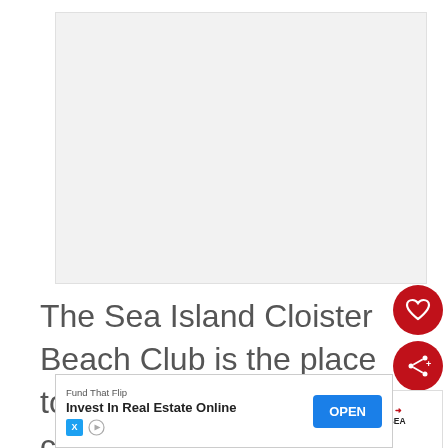[Figure (photo): Large image placeholder - appears to be a beach or resort photo, shown as light gray rectangle]
The Sea Island Cloister Beach Club is the place to be in the summer. The club includes multiple pools, a pad, beach volleyball, playground,
[Figure (other): UI overlay elements: heart/favorite button (red circle), share button (red circle), and 'What's Next' panel showing 'THE INN AT SEA ISLAND...' with thumbnail]
[Figure (other): Advertisement banner: 'Fund That Flip - Invest In Real Estate Online' with OPEN button, X and play icons at bottom left]